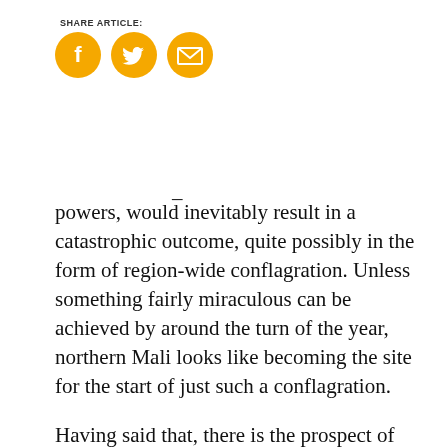SHARE ARTICLE:
[Figure (illustration): Three social share icon circles in gold/amber color: Facebook (f), Twitter (bird), and Email (envelope)]
powers, would inevitably result in a catastrophic outcome, quite possibly in the form of region-wide conflagration. Unless something fairly miraculous can be achieved by around the turn of the year, northern Mali looks like becoming the site for the start of just such a conflagration.
Having said that, there is the prospect of one appalling scenario that is being raised by some of the local, mostly Tuareg, militia commanders. They are postulating as to whether Algeria's DRS and its Western allies